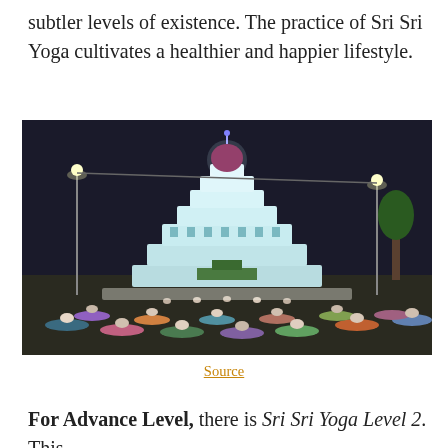subtler levels of existence. The practice of Sri Sri Yoga cultivates a healthier and happier lifestyle.
[Figure (photo): Nighttime outdoor yoga session with a large illuminated tiered pavilion/temple structure in the background; many participants seated on yoga mats on the ground.]
Source
For Advance Level, there is Sri Sri Yoga Level 2. This